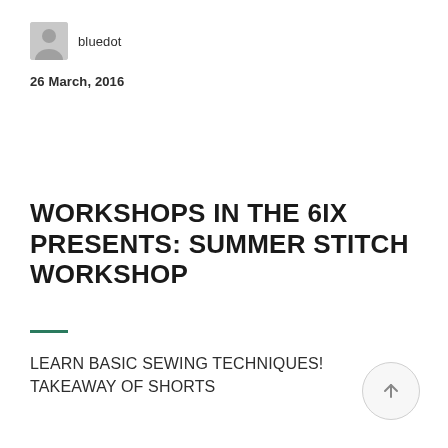[Figure (illustration): User avatar placeholder – grey rounded rectangle with silhouette icon, followed by username 'bluedot']
26 March, 2016
WORKSHOPS IN THE 6IX PRESENTS: SUMMER STITCH WORKSHOP
LEARN BASIC SEWING TECHNIQUES! TAKEAWAY OF SHORTS